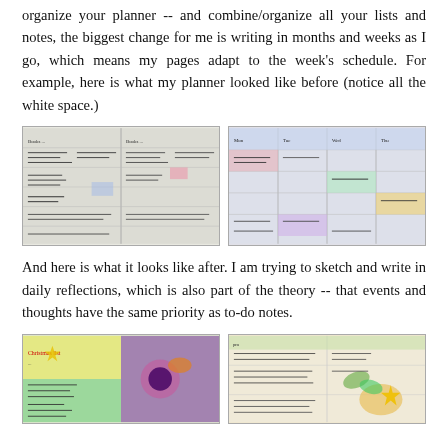organize your planner -- and combine/organize all your lists and notes, the biggest change for me is writing in months and weeks as I go, which means my pages adapt to the week's schedule. For example, here is what my planner looked like before (notice all the white space.)
[Figure (photo): Two photos of planner pages filled with handwritten notes, lists, and drawings, shown side by side. Pages appear busy with black ink writing and some colored elements.]
And here is what it looks like after. I am trying to sketch and write in daily reflections, which is also part of the theory -- that events and thoughts have the same priority as to-do notes.
[Figure (photo): Two photos of planner pages with colorful sketches, drawings, and handwritten notes, shown side by side. Pages have vibrant colors including greens, purples, and yellows.]